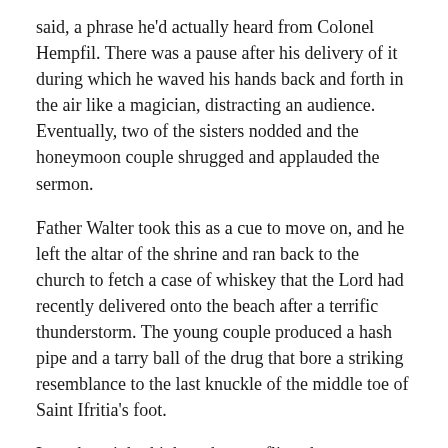said, a phrase he'd actually heard from Colonel Hempfil. There was a pause after his delivery of it during which he waved his hands back and forth in the air like a magician, distracting an audience. Eventually, two of the sisters nodded and the honeymoon couple shrugged and applauded the sermon.
Father Walter took this as a cue to move on, and he left the altar of the shrine and ran back to the church to fetch a case of whiskey that the Lord had recently delivered onto the beach after a terrific thunderstorm. The young couple produced a hash pipe and a tarry ball of the drug that bore a striking resemblance to the last knuckle of the middle toe of Saint Ifritia's foot.
Late that night, high as the tern flies, the young man and woman left and headed out toward the end of the world, and Sister North's sisters loaded into their wagon and left for their respective homes. Father Walter sat on the sand near the bell in the churchyard, a bottle to his lips, staring up at the stars. Sister North stood over him, the hem of her